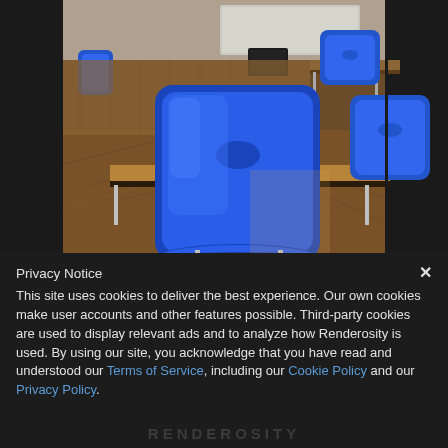[Figure (photo): Photograph of a classroom interior with blue plastic chairs and wooden desks. A whiteboard is visible in the background. The chairs are bright blue, and the floor has a herringbone wood pattern. The image is taken from a low angle close to one of the chairs.]
Privacy Notice
This site uses cookies to deliver the best experience. Our own cookies make user accounts and other features possible. Third-party cookies are used to display relevant ads and to analyze how Renderosity is used. By using our site, you acknowledge that you have read and understood our Terms of Service, including our Cookie Policy and our Privacy Policy.